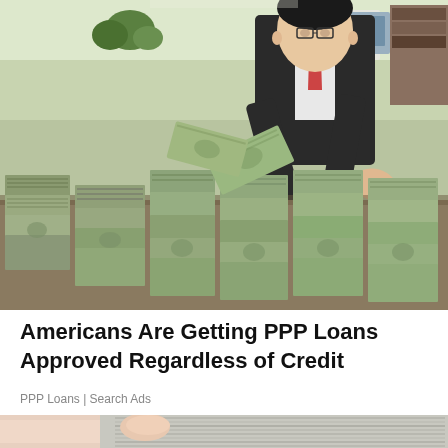[Figure (photo): A man in a suit and glasses surrounded by and handling large stacks of US dollar bills piled high on a table, suggesting large sums of money.]
Americans Are Getting PPP Loans Approved Regardless of Credit
PPP Loans | Search Ads
[Figure (photo): Close-up of a person touching or examining grey hair on someone's head, partially visible at the bottom of the page.]